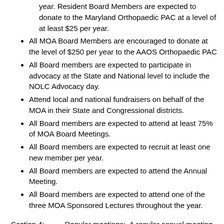year. Resident Board Members are expected to donate to the Maryland Orthopaedic PAC at a level of at least $25 per year.
All MOA Board Members are encouraged to donate at the level of $250 per year to the AAOS Orthopaedic PAC
All Board members are expected to participate in advocacy at the State and National level to include the NOLC Advocacy day.
Attend local and national fundraisers on behalf of the MOA in their State and Congressional districts.
All Board members are expected to attend at least 75% of MOA Board Meetings.
All Board members are expected to recruit at least one new member per year.
All Board members are expected to attend the Annual Meeting.
All Board members are expected to attend one of the three MOA Sponsored Lectures throughout the year.
Section 4:    Regular meetings:  A regular annual meeting of